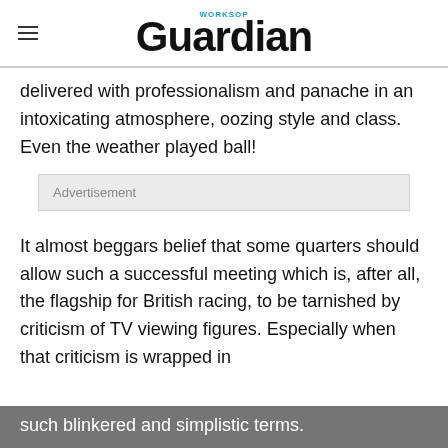Worksop Guardian
delivered with professionalism and panache in an intoxicating atmosphere, oozing style and class. Even the weather played ball!
Advertisement
It almost beggars belief that some quarters should allow such a successful meeting which is, after all, the flagship for British racing, to be tarnished by criticism of TV viewing figures. Especially when that criticism is wrapped in such blinkered and simplistic terms.